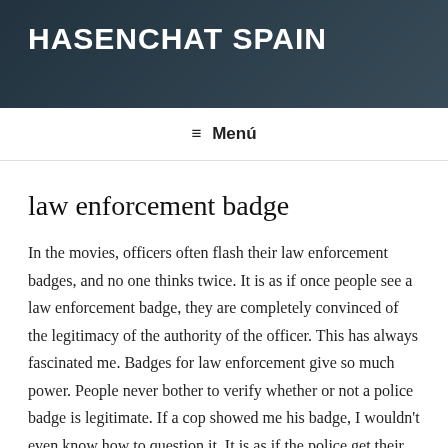HASENCHAT SPAIN
≡ Menú
law enforcement badge
In the movies, officers often flash their law enforcement badges, and no one thinks twice. It is as if once people see a law enforcement badge, they are completely convinced of the legitimacy of the authority of the officer. This has always fascinated me. Badges for law enforcement give so much power. People never bother to verify whether or not a police badge is legitimate. If a cop showed me his badge, I wouldn't even know how to question it. It is as if the police get their power not through their law enforcement training, but through the